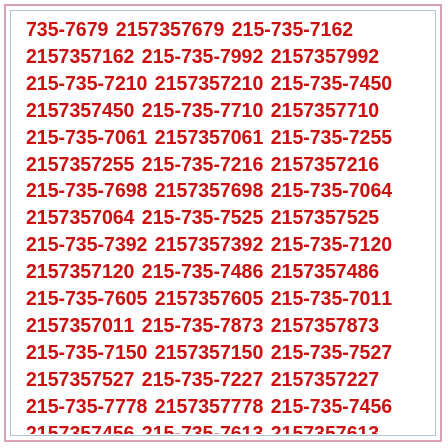735-7679 2157357679 215-735-7162 2157357162 215-735-7992 2157357992 215-735-7210 2157357210 215-735-7450 2157357450 215-735-7710 2157357710 215-735-7061 2157357061 215-735-7255 2157357255 215-735-7216 2157357216 215-735-7698 2157357698 215-735-7064 2157357064 215-735-7525 2157357525 215-735-7392 2157357392 215-735-7120 2157357120 215-735-7486 2157357486 215-735-7605 2157357605 215-735-7011 2157357011 215-735-7873 2157357873 215-735-7150 2157357150 215-735-7527 2157357527 215-735-7227 2157357227 215-735-7778 2157357778 215-735-7456 2157357456 215-735-7613 2157357613 215-735-7805 2157357805 215-735-7054 2157357054 215-735-7306 2157357306 215-735-7141 2157357141 215-735-7314 2157357314 215-735-7335 2157357335 215-735-7978 2157357978 215-735-7279 2157357279 215-735-7267 2157357267 215-735-7974 2157357974 215-735-7948